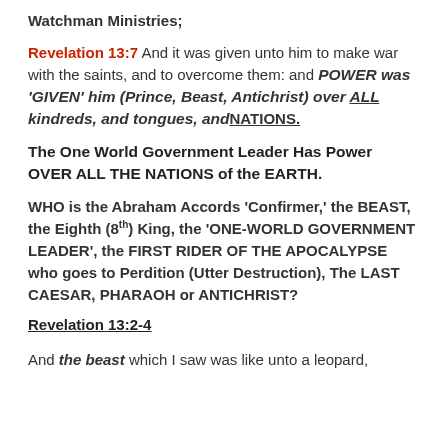Watchman Ministries;
Revelation 13:7 And it was given unto him to make war with the saints, and to overcome them: and POWER was 'GIVEN' him (Prince, Beast, Antichrist) over ALL kindreds, and tongues, and NATIONS.
The One World Government Leader Has Power OVER ALL THE NATIONS of the EARTH.
WHO is the Abraham Accords 'Confirmer,' the BEAST, the Eighth (8th) King, the 'ONE-WORLD GOVERNMENT LEADER', the FIRST RIDER OF THE APOCALYPSE who goes to Perdition (Utter Destruction), The LAST CAESAR, PHARAOH or ANTICHRIST?
Revelation 13:2-4
And the beast which I saw was like unto a leopard,